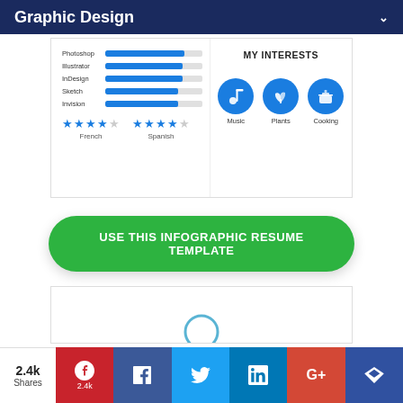Graphic Design
[Figure (infographic): Resume section showing software skill bars for Photoshop, Illustrator, InDesign, Sketch, Invision; language ratings for French (4 stars) and Spanish (4.5 stars); MY INTERESTS section with Music, Plants, Cooking icons]
[Figure (other): Call-to-action button: USE THIS INFOGRAPHIC RESUME TEMPLATE]
[Figure (other): Bottom of next resume card with partial arc/circle]
2.4k Shares | Pinterest 2.4k | Facebook | Twitter | LinkedIn | G+ | Crown